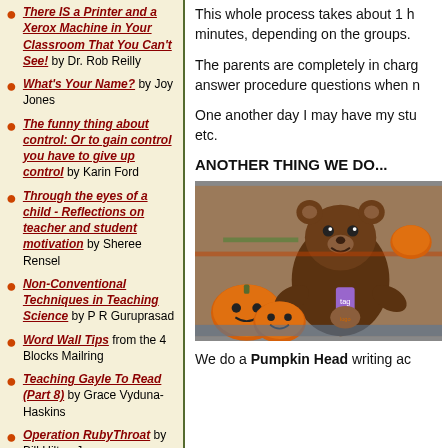There IS a Printer and a Xerox Machine in Your Classroom That You Can't See! by Dr. Rob Reilly
What's Your Name? by Joy Jones
The funny thing about control: Or to gain control you have to give up control by Karin Ford
Through the eyes of a child - Reflections on teacher and student motivation by Sheree Rensel
Non-Conventional Techniques in Teaching Science by P R Guruprasad
Word Wall Tips from the 4 Blocks Mailring
Teaching Gayle To Read (Part 8) by Grace Vyduna-Haskins
Operation RubyThroat by Bill Hilton Jr.
This whole process takes about 1 h minutes, depending on the groups.
The parents are completely in charge, answer procedure questions when needed.
One another day I may have my students write, etc.
ANOTHER THING WE DO...
[Figure (photo): Photo of stuffed animal bears and decorated pumpkins on a classroom table, with Halloween decorations in the background.]
We do a Pumpkin Head writing activity